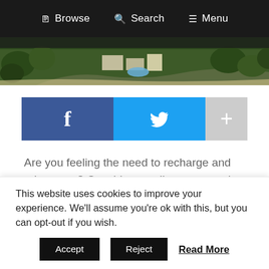Browse  Search  Menu
[Figure (photo): Aerial view of tropical resort area with buildings, trees, and beach]
[Figure (infographic): Social sharing buttons: Facebook (blue), Twitter (cyan), Plus (gray)]
Are you feeling the need to recharge and rejuvenate? Consider a wellness retreat in Turks and Caicos, one of our favorite destinations. Because, sometimes, we’re all guilty of not taking the best care of ourselves mentally and emotionally. We stay busy and distracted, and
This website uses cookies to improve your experience. We’ll assume you’re ok with this, but you can opt-out if you wish.
Accept  Reject  Read More